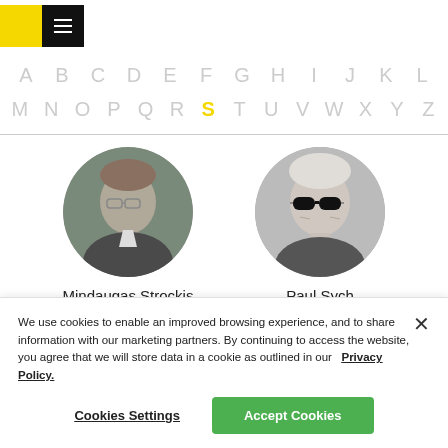[Figure (logo): Yellow and black logo with hamburger menu icon]
A B C D E F G H I J K L M N O P Q R S T U V W X Y Z
[Figure (photo): Circular portrait photo of Mindaugas Strockis]
[Figure (photo): Circular portrait photo of Paul Sych in sunglasses (black and white)]
Mindaugas Strockis
Paul Sych
We use cookies to enable an improved browsing experience, and to share information with our marketing partners. By continuing to access the website, you agree that we will store data in a cookie as outlined in our   Privacy Policy.
Cookies Settings
Accept Cookies